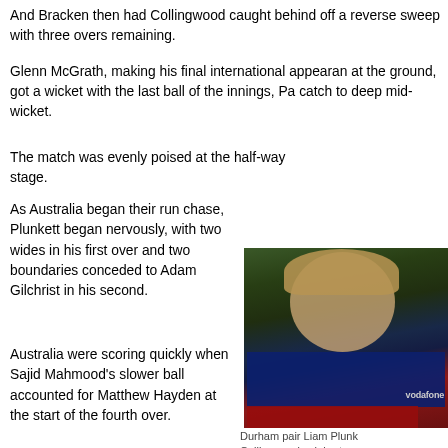And Bracken then had Collingwood caught behind off a reverse sweep with three overs remaining.
Glenn McGrath, making his final international appearance at the ground, got a wicket with the last ball of the innings, Pa- catch to deep mid-wicket.
The match was evenly poised at the half-way stage.
As Australia began their run chase, Plunkett began nervously, with two wides in his first over and two boundaries conceded to Adam Gilchrist in his second.
[Figure (photo): Cricket player in England blue Vodafone jersey smiling and celebrating]
Durham pair Liam Plunkett and Collingwood celebrate
Australia were scoring quickly when Sajid Mahmood's slower ball accounted for Matthew Hayden at the start of the fourth over.
And suddenly wickets began tumbling. Plunkett bowled a perfect outswinger at Ricky Ponting, who edged to Strauss at slip.
Then, immediately after the third rain break of the match, Plunkett struck a purple patch, his s- the floodlights and overcast conditions.